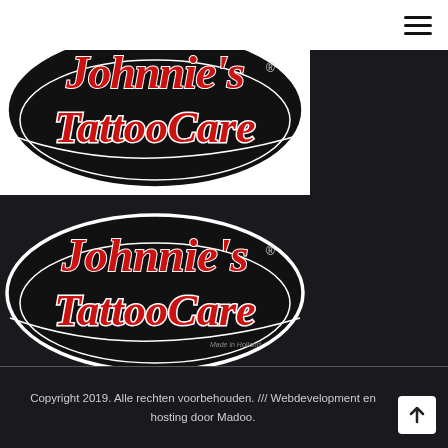[Figure (logo): Johnnie's Tattoo Care logo - black oval with red and white script lettering, registered trademark symbol, on white background with hamburger menu icon top right]
[Figure (logo): Johnnie's Tattoo Care logo - black oval with red and white script lettering, registered trademark symbol, 'Made in Holland' text, on dark background]
Copyright 2019. Alle rechten voorbehouden. /// Webdevelopment en hosting door Madoo.